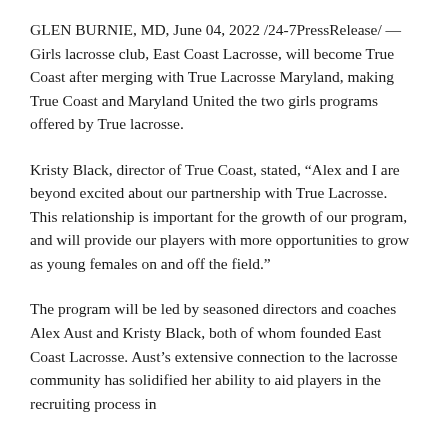GLEN BURNIE, MD, June 04, 2022 /24-7PressRelease/ — Girls lacrosse club, East Coast Lacrosse, will become True Coast after merging with True Lacrosse Maryland, making True Coast and Maryland United the two girls programs offered by True lacrosse.
Kristy Black, director of True Coast, stated, “Alex and I are beyond excited about our partnership with True Lacrosse. This relationship is important for the growth of our program, and will provide our players with more opportunities to grow as young females on and off the field.”
The program will be led by seasoned directors and coaches Alex Aust and Kristy Black, both of whom founded East Coast Lacrosse. Aust’s extensive connection to the lacrosse community has solidified her ability to aid players in the recruiting process in